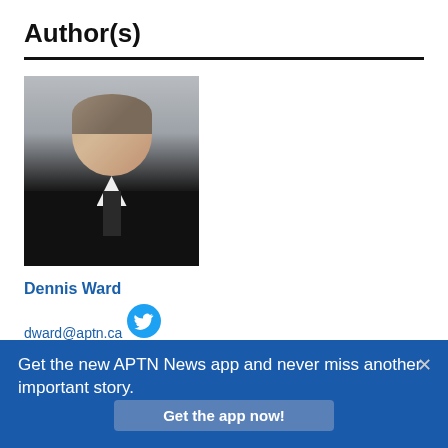Author(s)
[Figure (photo): Headshot photo of Dennis Ward, a man in a dark suit with a tie, looking at the camera.]
Dennis Ward
dward@aptn.ca
[Figure (logo): Twitter bird icon (blue circle with white bird)]
Get the new APTN News app and never miss another important story.
Get the app now!